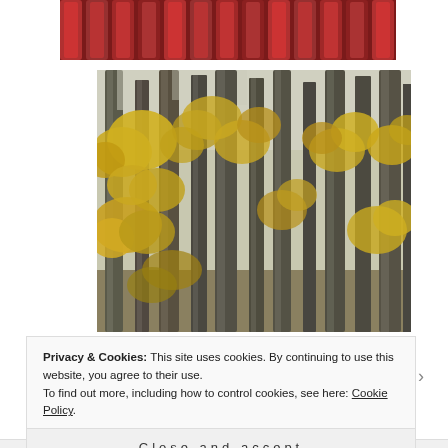[Figure (photo): Partial view of red theater or stadium seats at the top of the page]
[Figure (photo): Autumn forest scene with tall bare tree trunks and golden yellow foliage]
Privacy & Cookies: This site uses cookies. By continuing to use this website, you agree to their use.
To find out more, including how to control cookies, see here: Cookie Policy
Close and accept